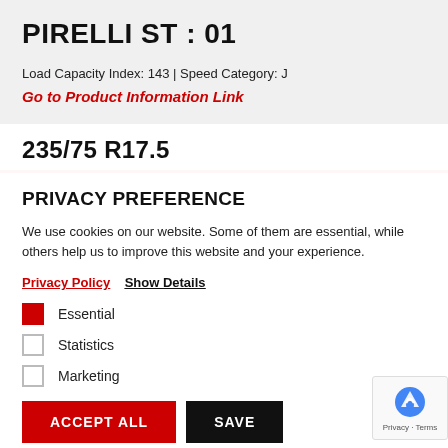PIRELLI ST : 01
Load Capacity Index: 143 | Speed Category: J
Go to Product Information Link
235/75 R17.5
PRIVACY PREFERENCE
We use cookies on our website. Some of them are essential, while others help us to improve this website and your experience.
Privacy Policy  Show Details
Essential
Statistics
Marketing
ACCEPT ALL  SAVE